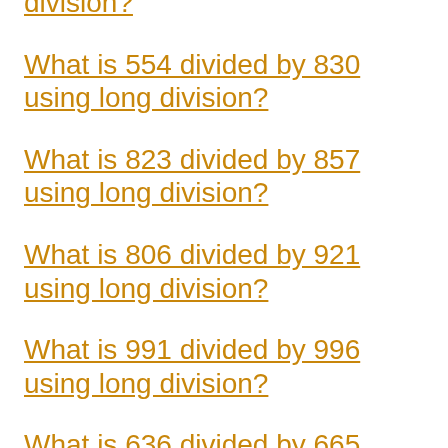division?
What is 554 divided by 830 using long division?
What is 823 divided by 857 using long division?
What is 806 divided by 921 using long division?
What is 991 divided by 996 using long division?
What is 636 divided by 665 using long division?